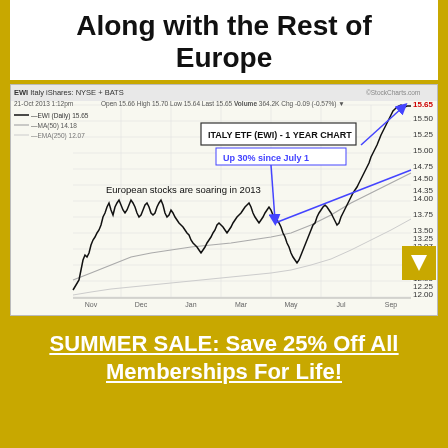Along with the Rest of Europe
[Figure (continuous-plot): EWI Italy iShares NYSE+BATS 1-year stock chart showing price from ~Oct 2012 to Oct 2013. Annotations: 'ITALY ETF (EWI) - 1 YEAR CHART', 'Up 30% since July 1', 'European stocks are soaring in 2013'. Blue arrow pointing up to ~15.65, blue arrow pointing down to trough ~11.80, blue diagonal trend line. Price range approximately 11.50 to 15.65. Header: EWI Daily 15.65, MA(50) 14.18, EMA(250) 12.07. Open 15.66 High 15.70 Low 15.64 Last 15.65 Volume 364.2K Chg -0.09 (-0.57%). Watermark: StockCharts.com]
SUMMER SALE: Save 25% Off All Memberships For Life!